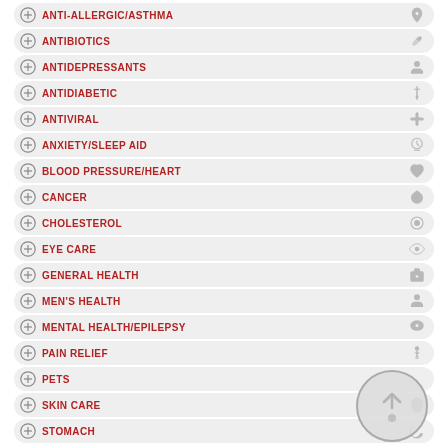ANTI-ALLERGIC/ASTHMA
ANTIBIOTICS
ANTIDEPRESSANTS
ANTIDIABETIC
ANTIVIRAL
ANXIETY/SLEEP AID
BLOOD PRESSURE/HEART
CANCER
CHOLESTEROL
EYE CARE
GENERAL HEALTH
MEN'S HEALTH
MENTAL HEALTH/EPILEPSY
PAIN RELIEF
PETS
SKIN CARE
STOMACH